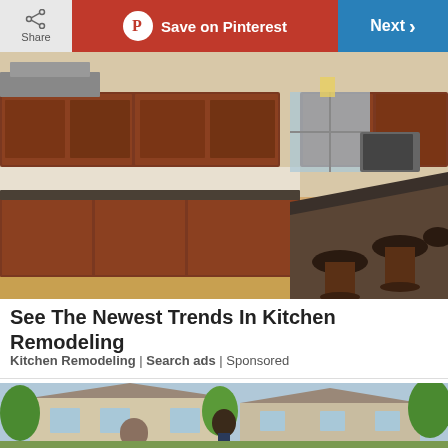[Figure (screenshot): Toolbar with Share button, Save on Pinterest button (red), and Next button (blue)]
[Figure (photo): Photo of a luxury kitchen with dark granite countertops, cherry wood cabinets, large kitchen island with bar stools, and hardwood floors]
See The Newest Trends In Kitchen Remodeling
Kitchen Remodeling | Search ads | Sponsored
[Figure (photo): Photo of a woman standing in front of a large suburban house with trees]